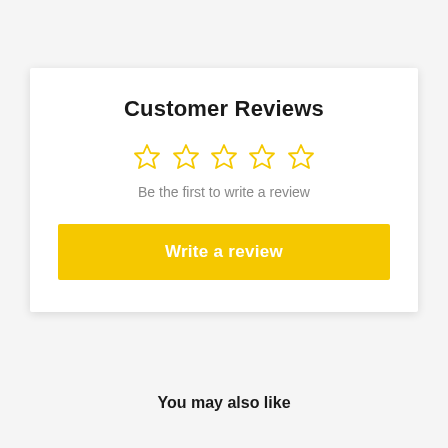Customer Reviews
[Figure (other): Five empty star rating icons in yellow outline style]
Be the first to write a review
Write a review
You may also like